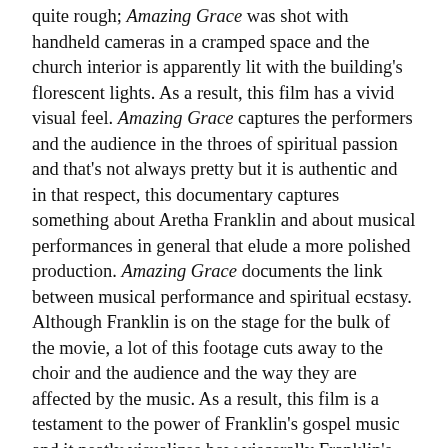quite rough; Amazing Grace was shot with handheld cameras in a cramped space and the church interior is apparently lit with the building's florescent lights. As a result, this film has a vivid visual feel. Amazing Grace captures the performers and the audience in the throes of spiritual passion and that's not always pretty but it is authentic and in that respect, this documentary captures something about Aretha Franklin and about musical performances in general that elude a more polished production. Amazing Grace documents the link between musical performance and spiritual ecstasy. Although Franklin is on the stage for the bulk of the movie, a lot of this footage cuts away to the choir and the audience and the way they are affected by the music. As a result, this film is a testament to the power of Franklin's gospel music and it neatly visualizes how viscerally Franklin's performance impacted her audience.